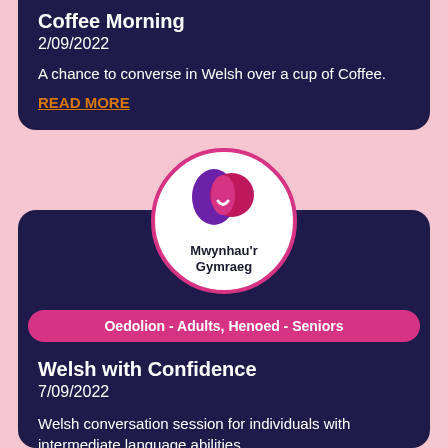Coffee Morning
2/09/2022
A chance to converse in Welsh over a cup of Coffee.
READ MORE
[Figure (logo): Mwynhau'r Gymraeg logo — circular badge with overlapping purple and pink/red circles forming a face-like shape, with text 'Mwynhau'r Gymraeg' below the graphic]
Oedolion - Adults, Henoed - Seniors
Welsh with Confidence
7/09/2022
Welsh conversation session for individuals with intermediate language abilities.